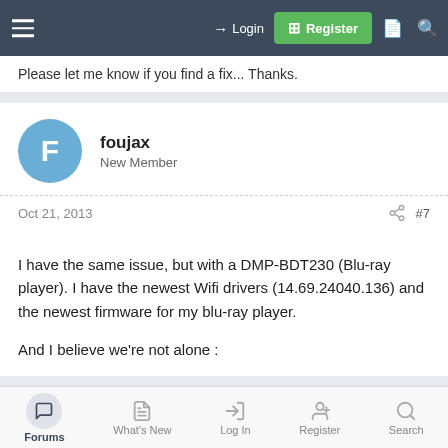Login | Register
Please let me know if you find a fix... Thanks.
foujax
New Member
Oct 21, 2013   #7
I have the same issue, but with a DMP-BDT230 (Blu-ray player). I have the newest Wifi drivers (14.69.24040.136) and the newest firmware for my blu-ray player.

And I believe we're not alone :
PSA: Wireless display (Miracast) support is broken on the Surface Pro
Forums | What's New | Log In | Register | Search